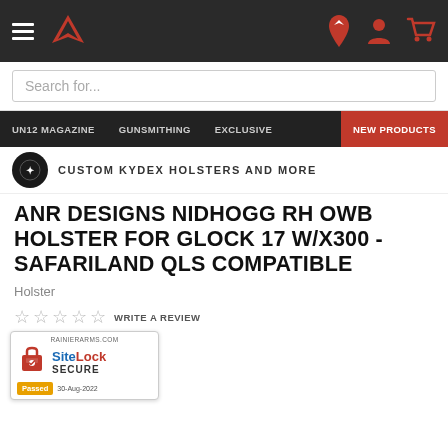Navigation bar with hamburger menu, logo, search, location, account and cart icons
Search for...
UN12 MAGAZINE  GUNSMITHING  EXCLUSIVE  NEW PRODUCTS
CUSTOM KYDEX HOLSTERS AND MORE
ANR DESIGNS NIDHOGG RH OWB HOLSTER FOR GLOCK 17 W/X300 - SAFARILAND QLS COMPATIBLE
Holster
WRITE A REVIEW
IN STOCK
Ships from Distribution Facility
ANR Designs Nidhogg RH OWB Holster for Glock 17 w/X300 - Safariland QLS Compatible